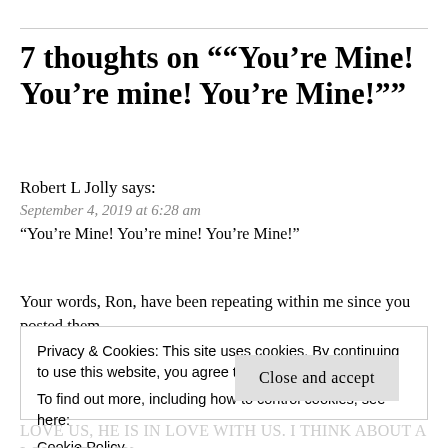7 thoughts on "“You’re Mine! You’re mine! You’re Mine!”"
Robert L Jolly says:
September 4, 2019 at 6:28 am
“You’re Mine! You’re mine! You’re Mine!”
Your words, Ron, have been repeating within me since you posted them.
They remind me to think upon how greatly the Savior loves us.
Privacy & Cookies: This site uses cookies. By continuing to use this website, you agree to their use.
To find out more, including how to control cookies, see here:
Cookie Policy
Close and accept
LOVE us, He is IN LOVE with us. I think about a love-struck